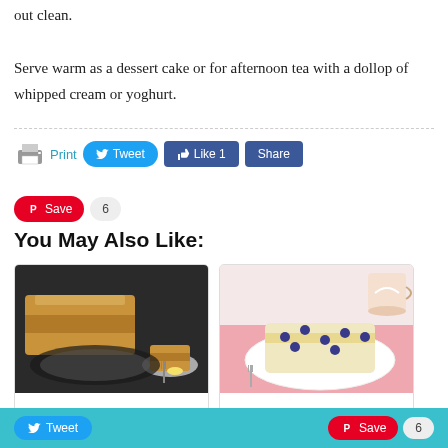out clean. Serve warm as a dessert cake or for afternoon tea with a dollop of whipped cream or yoghurt.
[Figure (screenshot): Social sharing buttons: Print, Tweet, Like 1, Share, Save with count 6]
You May Also Like:
[Figure (photo): Photo of Lemon Syrup Loaf — sliced loaf cake on dark background with fork and plate]
Lemon Syrup Loaf
[Figure (photo): Photo of Lemon Blueberry Loaf — slice on white plate with pink napkin and coffee cup]
Lemon Blueberry Loaf
Tweet  Save  6